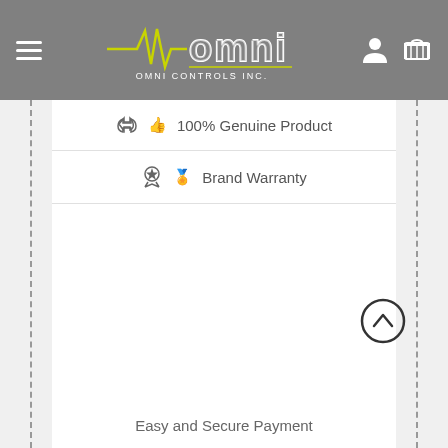[Figure (logo): Omni Controls Inc. logo with ECG waveline on grey navigation bar header with hamburger menu and user/cart icons]
100% Genuine Product
Brand Warranty
Easy and Secure Payment